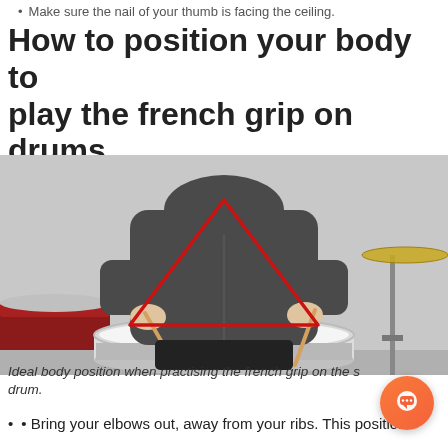Make sure the nail of your thumb is facing the ceiling.
How to position your body to play the french grip on drums
[Figure (photo): A person sitting at a drum kit holding drumsticks in the french grip. A red triangle is drawn over the upper body to illustrate the ideal arm and body position. A snare drum is visible in the foreground, a cymbal and stand on the right, and a small drum on the left.]
Ideal body position when practising the french grip on the s drum.
Bring your elbows out, away from your ribs. This position